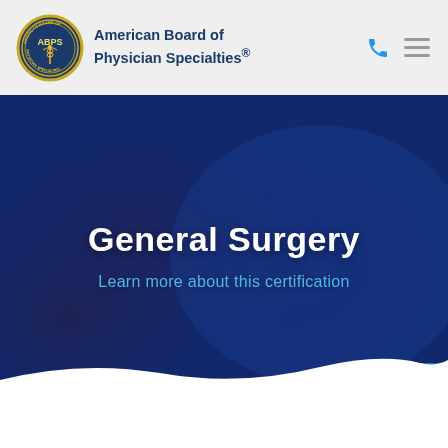American Board of Physician Specialties®
General Surgery
Learn more about this certification
[Figure (illustration): Hero banner with dark blue overlay on a blurred surgical/medical background image with a wave shape at the bottom. A bright blue accent stripe appears at the lower right corner.]